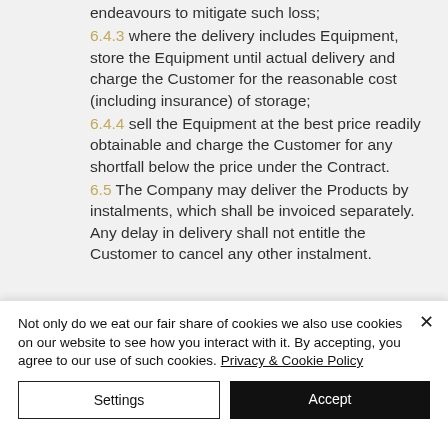endeavours to mitigate such loss;
6.4.3 where the delivery includes Equipment, store the Equipment until actual delivery and charge the Customer for the reasonable cost (including insurance) of storage;
6.4.4 sell the Equipment at the best price readily obtainable and charge the Customer for any shortfall below the price under the Contract.
6.5 The Company may deliver the Products by instalments, which shall be invoiced separately.  Any delay in delivery shall not entitle the Customer to cancel any other instalment.
Not only do we eat our fair share of cookies we also use cookies on our website to see how you interact with it. By accepting, you agree to our use of such cookies. Privacy & Cookie Policy
Settings
Accept